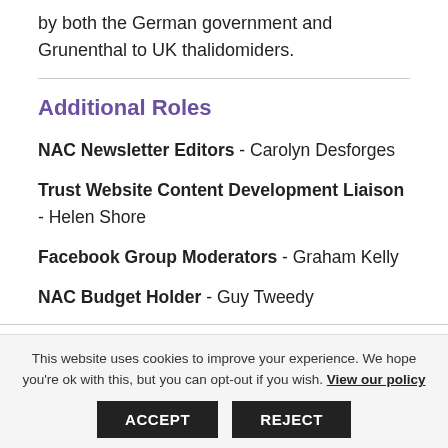by both the German government and Grunenthal to UK thalidomiders.
Additional Roles
NAC Newsletter Editors - Carolyn Desforges
Trust Website Content Development Liaison - Helen Shore
Facebook Group Moderators - Graham Kelly
NAC Budget Holder - Guy Tweedy
This website uses cookies to improve your experience. We hope you're ok with this, but you can opt-out if you wish. View our policy